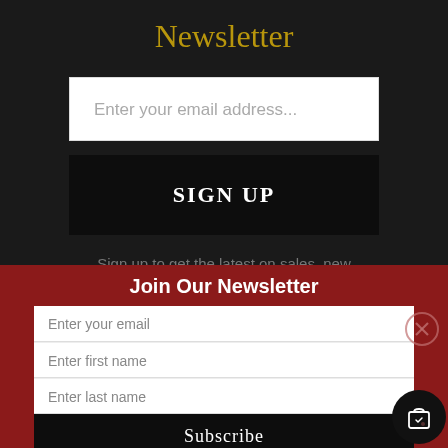Newsletter
Enter your email address...
SIGN UP
Sign up to get the latest on sales, new releases and more...
Join Our Newsletter
Enter your email
Enter first name
Enter last name
Subscribe